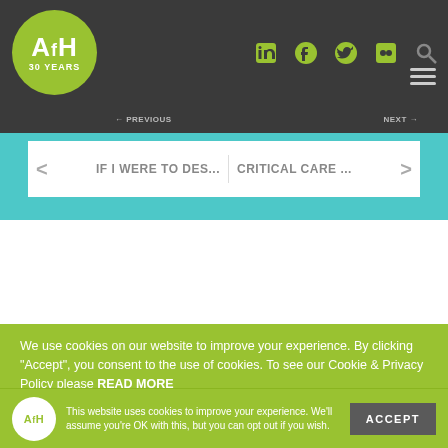AfH 30 YEARS
IF I WERE TO DES... CRITICAL CARE ...
We use cookies on our website to improve your experience. By clicking “Accept”, you consent to the use of cookies. To see our Cookie & Privacy Policy please READ MORE
This website uses cookies to improve your experience. We’ll assume you’re OK with this, but you can opt out if you wish.
ACCEPT